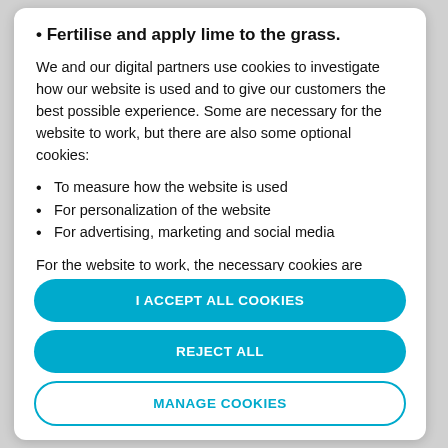Fertilise and apply lime to the grass.
We and our digital partners use cookies to investigate how our website is used and to give our customers the best possible experience. Some are necessary for the website to work, but there are also some optional cookies:
To measure how the website is used
For personalization of the website
For advertising, marketing and social media
For the website to work, the necessary cookies are always active. If you click on "I accept all cookies", you also accept the optional cookies. If you want to customize your settings, you do so by
I ACCEPT ALL COOKIES
REJECT ALL
MANAGE COOKIES